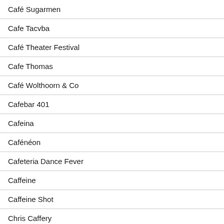Café Sugarmen
Cafe Tacvba
Café Theater Festival
Cafe Thomas
Café Wolthoorn & Co
Cafebar 401
Cafeina
Cafénéon
Cafeteria Dance Fever
Caffeine
Caffeine Shot
Chris Caffery
Cafúne